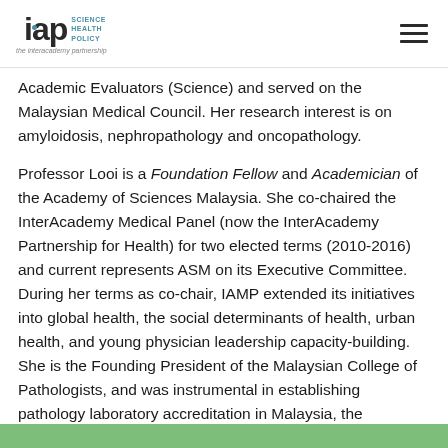IAP Science Health Policy – the interacademy partnership
Academic Evaluators (Science) and served on the Malaysian Medical Council. Her research interest is on amyloidosis, nephropathology and oncopathology.
Professor Looi is a Foundation Fellow and Academician of the Academy of Sciences Malaysia. She co-chaired the InterAcademy Medical Panel (now the InterAcademy Partnership for Health) for two elected terms (2010-2016) and current represents ASM on its Executive Committee. During her terms as co-chair, IAMP extended its initiatives into global health, the social determinants of health, urban health, and young physician leadership capacity-building. She is the Founding President of the Malaysian College of Pathologists, and was instrumental in establishing pathology laboratory accreditation in Malaysia, the Pathology Act and several National guidelines on medical laboratory practices.